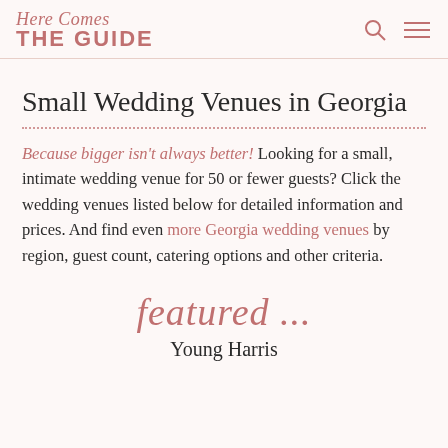Here Comes THE GUIDE
Small Wedding Venues in Georgia
Because bigger isn't always better! Looking for a small, intimate wedding venue for 50 or fewer guests? Click the wedding venues listed below for detailed information and prices. And find even more Georgia wedding venues by region, guest count, catering options and other criteria.
featured ...
Young Harris